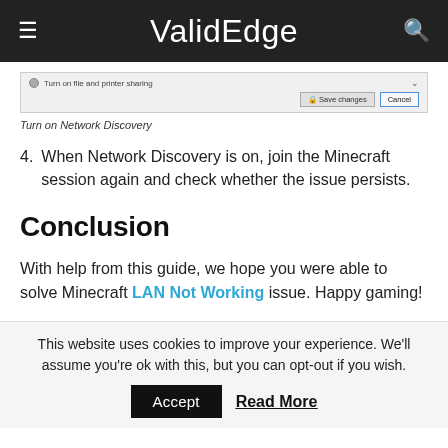ValidEdge
[Figure (screenshot): Windows dialog showing 'Turn on file and printer sharing' radio option with 'Save changes' and 'Cancel' buttons]
Turn on Network Discovery
4. When Network Discovery is on, join the Minecraft session again and check whether the issue persists.
Conclusion
With help from this guide, we hope you were able to solve Minecraft LAN Not Working issue. Happy gaming!
This website uses cookies to improve your experience. We'll assume you're ok with this, but you can opt-out if you wish.